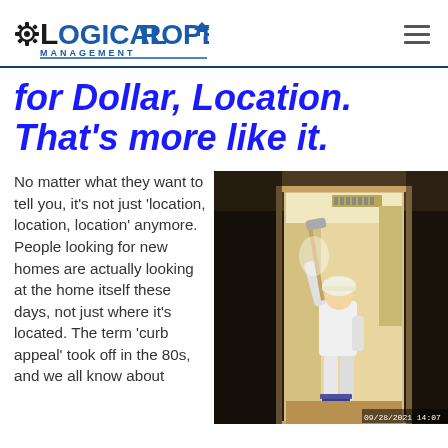Logical Property Management
for Dollar, Location. That's more like it.
No matter what they want to tell you, it's not just 'location, location, location' anymore. People looking for new homes are actually looking at the home itself these days, not just where it's located. The term 'curb appeal' took off in the 80s, and we all know about
[Figure (photo): A person in white clothes and hard hat painting the interior of a room, standing in a doorway with a paint roller on an extension pole and a paint bucket on the floor]